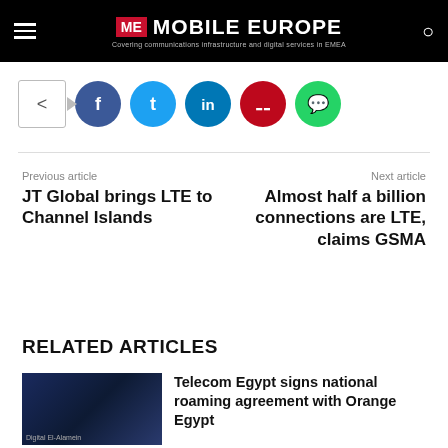ME MOBILE EUROPE – Covering communications infrastructure and digital services in EMEA
[Figure (infographic): Social share bar with Facebook, Twitter, LinkedIn, Pinterest, WhatsApp buttons]
Previous article
JT Global brings LTE to Channel Islands
Next article
Almost half a billion connections are LTE, claims GSMA
RELATED ARTICLES
Telecom Egypt signs national roaming agreement with Orange Egypt